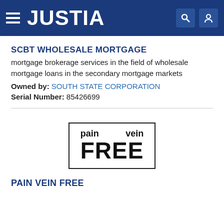JUSTIA
SCBT WHOLESALE MORTGAGE
mortgage brokerage services in the field of wholesale mortgage loans in the secondary mortgage markets
Owned by: SOUTH STATE CORPORATION
Serial Number: 85426699
[Figure (logo): pain vein FREE logo — text in a black-bordered box with 'pain vein' on top line and 'FREE' in large bold text below]
PAIN VEIN FREE